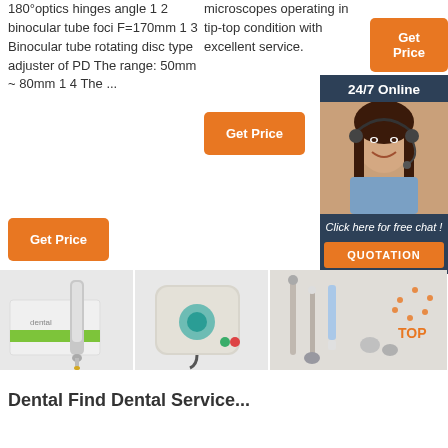180°optics hinges angle 1 2 binocular tube foci F=170mm 1 3 Binocular tube rotating disc type adjuster of PD The range: 50mm ~ 80mm 1 4 The ...
microscopes operating in tip-top condition with excellent service.
[Figure (other): Orange 'Get Price' button (top right)]
[Figure (other): Orange 'Get Price' button (middle center)]
[Figure (other): Orange 'Get Price' button (bottom left)]
[Figure (photo): Sidebar with '24/7 Online' header, photo of a woman with headset smiling, 'Click here for free chat!' text, and orange QUOTATION button]
[Figure (photo): Dental handpiece product image (left)]
[Figure (photo): Dental equipment/compressor product image (center)]
[Figure (photo): Dental tool set product image with TOP badge (right)]
Dental Find Dental Service...